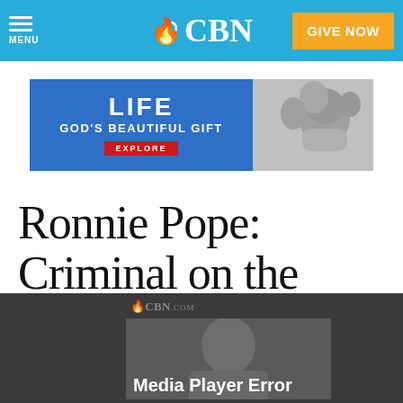MENU | CBN | GIVE NOW
[Figure (screenshot): CBN advertisement banner: 'LIFE GOD'S BEAUTIFUL GIFT EXPLORE' with baby photo]
Ronnie Pope: Criminal on the Cross
[Figure (screenshot): CBN.com video player showing 'Media Player Error' with grayscale person image]